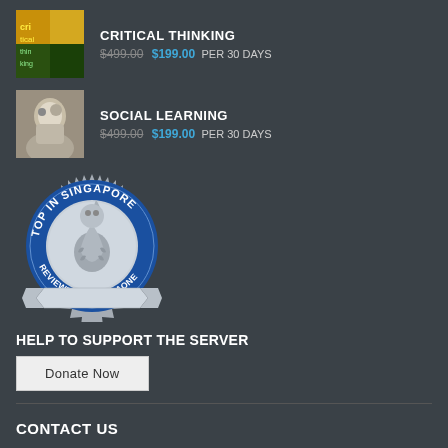CRITICAL THINKING — $499.00 $199.00 PER 30 DAYS
SOCIAL LEARNING — $499.00 $199.00 PER 30 DAYS
[Figure (logo): Blue circular badge seal reading 'TOP IN SINGAPORE' around the top, with a Merlion emblem in the center, and 'REVIEWED BY MEDIAONE' on a ribbon banner at the bottom. Silver and blue color scheme with a serrated/sunburst outer edge.]
HELP TO SUPPORT THE SERVER
Donate Now
CONTACT US
Our Support Department
Support@SingaporeOnlineTraining.com